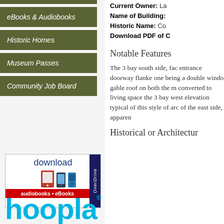eBooks & Audiobooks
Historic Homes
Museum Passes
Community Job Board
[Figure (logo): OverDrive download audiobooks & eBooks banner with device icons]
[Figure (logo): hoopla logo in cyan/blue color]
Current Owner: La
Name of Building:
Historic Name: Co
Download PDF of C
Notable Features
The 3 bay south side, fac entrance doorway flanke one being a double windo gable roof on both the m converted to living space the 3 bay west elevation typical of this style of arc of the east side, apparen
Historical or Architectur